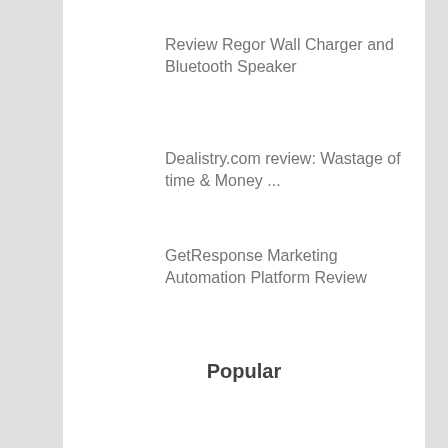Review Regor Wall Charger and Bluetooth Speaker
Dealistry.com review: Wastage of time & Money ...
GetResponse Marketing Automation Platform Review
Popular